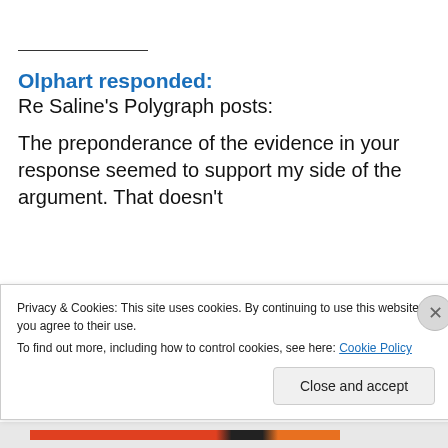Olphart responded:
Re Saline's Polygraph posts:
The preponderance of the evidence in your response seemed to support my side of the argument. That doesn't
Privacy & Cookies: This site uses cookies. By continuing to use this website, you agree to their use.
To find out more, including how to control cookies, see here: Cookie Policy
Close and accept